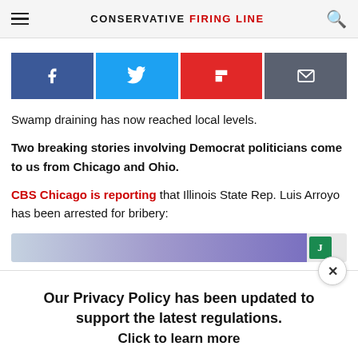CONSERVATIVE FIRING LINE
[Figure (other): Social share buttons: Facebook (blue), Twitter (light blue), Flipboard (red), Email (dark gray)]
Swamp draining has now reached local levels.
Two breaking stories involving Democrat politicians come to us from Chicago and Ohio.
CBS Chicago is reporting that Illinois State Rep. Luis Arroyo has been arrested for bribery:
[Figure (other): Advertisement banner with gradient bar and green J tag]
Our Privacy Policy has been updated to support the latest regulations. Click to learn more.